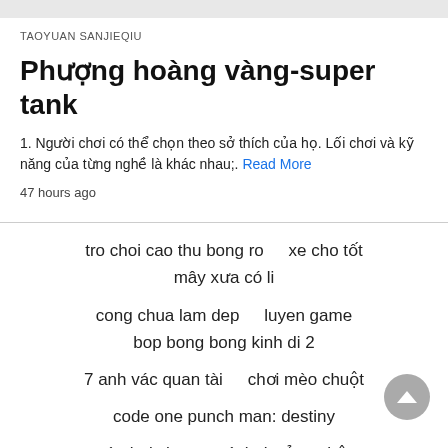TAOYUAN SANJIEQIU
Phượng hoàng vàng-super tank
1. Người chơi có thể chọn theo sở thích của họ. Lối chơi và kỹ năng của từng nghề là khác nhau;. Read More
47 hours ago
tro choi cao thu bong ro
xe cho tốt
mây xưa có li
cong chua lam dep
luyen game
bop bong bong kinh di 2
7 anh vác quan tài
chơi mèo chuột
code one punch man: destiny
trò chơi chương trình thưởng nhật
game miễn phí hay
Soochow
choi hoi phap su